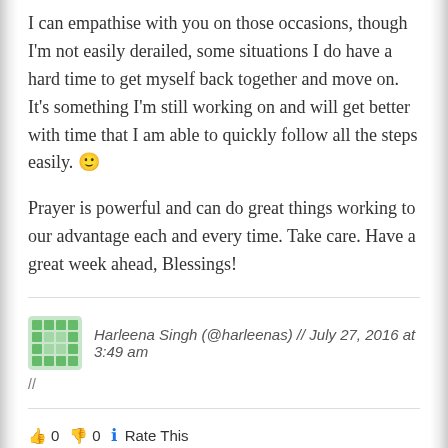I can empathise with you on those occasions, though I'm not easily derailed, some situations I do have a hard time to get myself back together and move on. It's something I'm still working on and will get better with time that I am able to quickly follow all the steps easily. 🙂

Prayer is powerful and can do great things working to our advantage each and every time. Take care. Have a great week ahead, Blessings!
Harleena Singh (@harleenas) // July 27, 2016 at 3:49 am
//
👍 0 👎 0 ℹ Rate This
Hi Yvonne,
Good to be over at your blog after my blogging break.